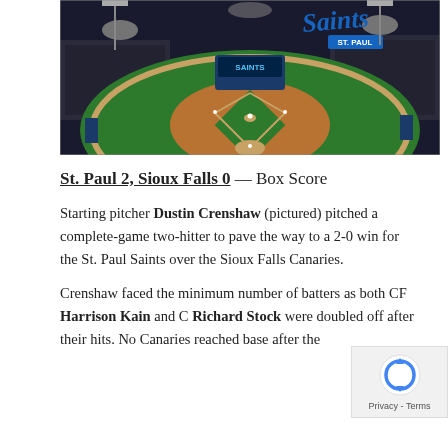[Figure (photo): Aerial night view of a baseball stadium with the St. Paul Saints logo in the upper right corner. The field is lit and fans fill the stands.]
St. Paul 2, Sioux Falls 0 — Box Score
Starting pitcher Dustin Crenshaw (pictured) pitched a complete-game two-hitter to pave the way to a 2-0 win for the St. Paul Saints over the Sioux Falls Canaries.
Crenshaw faced the minimum number of batters as both CF Harrison Kain and C Richard Stock were doubled off after their hits. No Canaries reached base after the